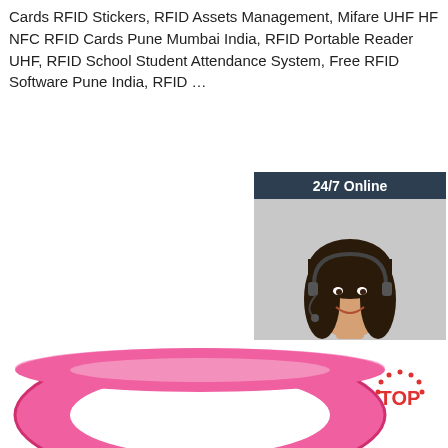Cards RFID Stickers, RFID Assets Management, Mifare UHF HF NFC RFID Cards Pune Mumbai India, RFID Portable Reader UHF, RFID School Student Attendance System, Free RFID Software Pune India, RFID …
[Figure (other): Orange 'Get Price' button]
[Figure (other): 24/7 Online chat widget with a customer service representative photo and 'Click here for free chat! QUOTATION' button]
[Figure (photo): Pink silicone RFID wristband viewed from slightly above, showing the ring shape against a white background, with a red TOP badge with dots in the bottom right corner]